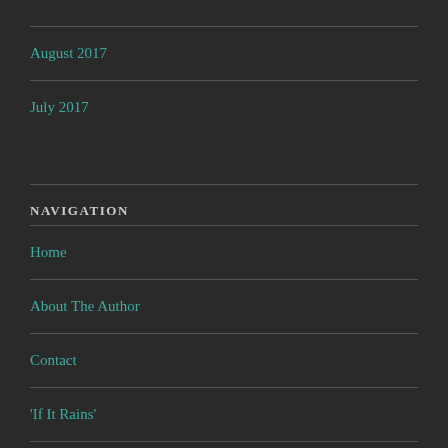August 2017
July 2017
NAVIGATION
Home
About The Author
Contact
‘If It Rains’